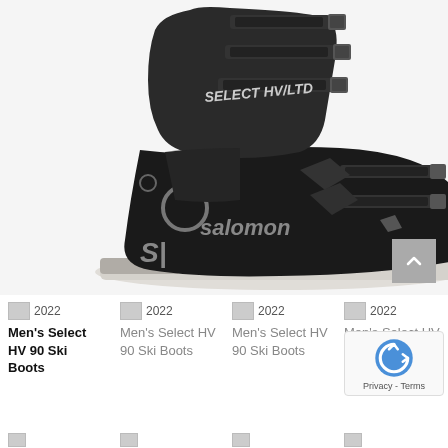[Figure (photo): Large product photo of a black Salomon SELECT HV/LTD men's ski boot with multiple buckles and grey sole, shown on a white/light grey background.]
2022 Men's Select HV 90 Ski Boots
2022 Men's Select HV 90 Ski Boots
2022 Men's Select HV 90 Ski Boots
2022 Men's Select HV 90 Ski Boots